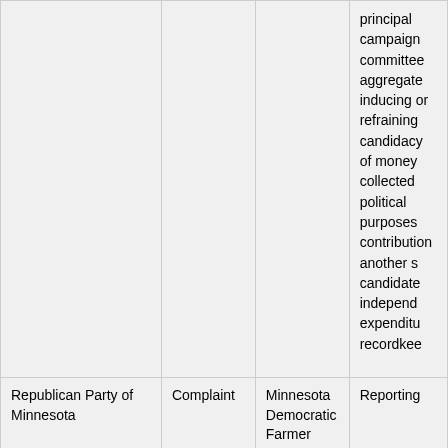|  |  |  |  |
| --- | --- | --- | --- |
|  |  |  | principal campaign committee aggregate inducing or refraining candidacy of money collected political purposes contribution another s candidate independ expenditu recordkee |
| Republican Party of Minnesota | Complaint | Minnesota Democratic Farmer Labor Party | Reporting |
| Republican Party of Minnesota - Federal | Staff review |  | Contributions from unregistered association |